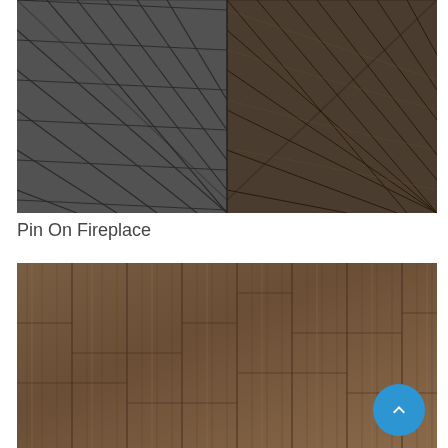[Figure (photo): Chevron pattern dark gray wood flooring shown from above, with diagonal planks meeting at a central V-shape. The left side appears more matte gray while the right side shows warmer brown-gray tones with visible wood grain.]
Pin On Fireplace
[Figure (photo): Horizontal wood plank flooring in warm medium brown tones with light and dark streaks showing natural wood grain texture. Wide planks with subtle variation in color.]